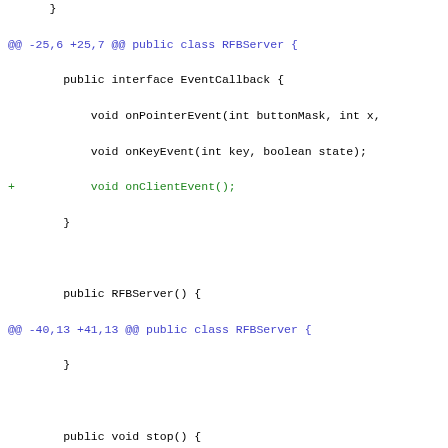Diff code snippet showing changes to RFBServer.java with hunks at -25,6 +25,7, -40,13 +41,13, and -77,6 +78,10